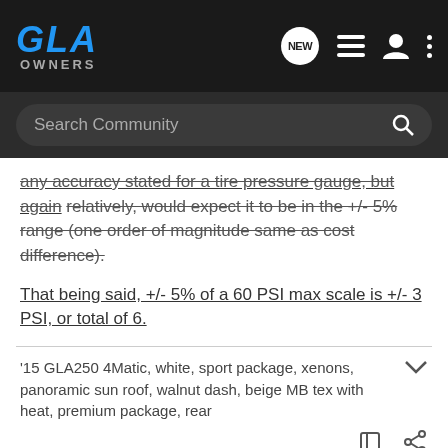GLA OWNERS
any accuracy stated for a tire pressure gauge, but again relatively, would expect it to be in the +/- 5% range (one order of magnitude same as cost difference).
That being said, +/- 5% of a 60 PSI max scale is +/- 3 PSI, or total of 6.
'15 GLA250 4Matic, white, sport package, xenons, panoramic sun roof, walnut dash, beige MB tex with heat, premium package, rear
AMGz · Registered
Joined Jul 18, 2013 · 694 Posts